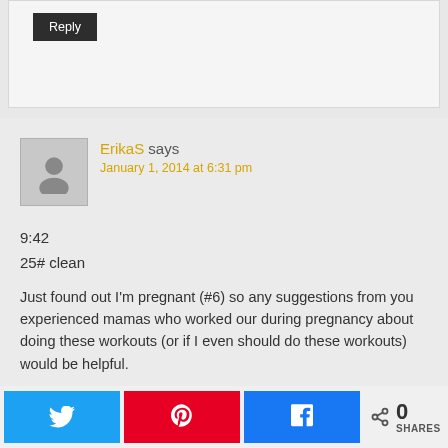[Figure (other): Top partial comment box with Reply button visible]
ErikaS says
January 1, 2014 at 6:31 pm
9:42
25# clean
Just found out I'm pregnant (#6) so any suggestions from you experienced mamas who worked our during pregnancy about doing these workouts (or if I even should do these workouts) would be helpful.
Reply
[Figure (other): Partial next comment box at bottom]
0 SHARES with Twitter, Pinterest, Facebook share buttons